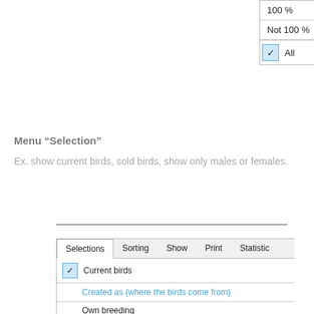[Figure (screenshot): Dropdown menu showing options: '100 %', 'Not 100 %', and 'All' (checked with blue checkbox)]
Menu “Selection”
Ex. show current birds, sold birds, show only males or females.
[Figure (screenshot): A tabbed panel UI with tabs: Selections (active), Sorting, Show, Print, Statistic. Panel shows: checked 'Current birds', then blue header 'Created as (where the birds come from)', items 'Own breeding', 'Purchased birds', 'Parent purchased birds', blue header 'Status of birds', items 'Offspring', 'Breeding birds all', 'Breeding birds not in pair' (partially visible).]